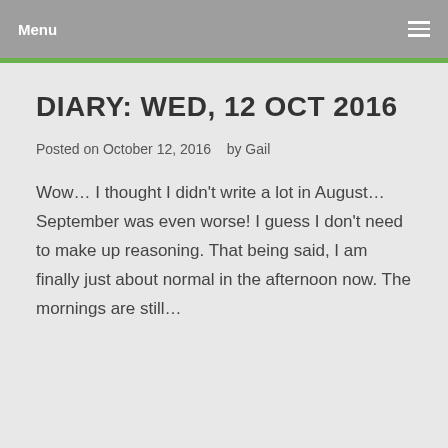Menu
DIARY: WED, 12 OCT 2016
Posted on October 12, 2016   by Gail
Wow… I thought I didn't write a lot in August… September was even worse!  I guess I don't need to make up reasoning.  That being said, I am finally just about normal in the afternoon now.  The mornings are still…